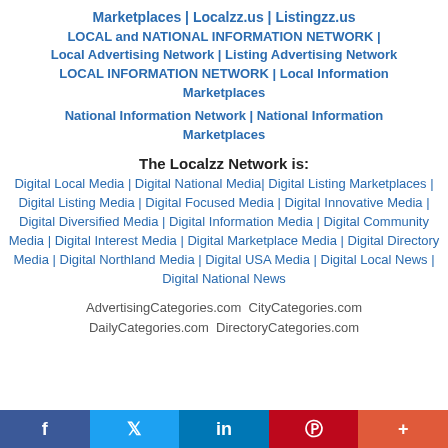Marketplaces | Localzz.us | Listingzz.us
LOCAL and NATIONAL INFORMATION NETWORK | Local Advertising Network | Listing Advertising Network LOCAL INFORMATION NETWORK | Local Information Marketplaces
National Information Network | National Information Marketplaces
The Localzz Network is:
Digital Local Media | Digital National Media| Digital Listing Marketplaces | Digital Listing Media | Digital Focused Media | Digital Innovative Media | Digital Diversified Media | Digital Information Media | Digital Community Media | Digital Interest Media | Digital Marketplace Media | Digital Directory Media | Digital Northland Media | Digital USA Media | Digital Local News | Digital National News
AdvertisingCategories.com  CityCategories.com DailyCategories.com  DirectoryCategories.com
f | Twitter | in | P | +